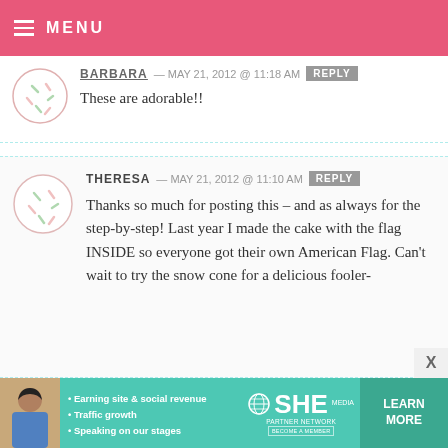MENU
BARBARA — MAY 21, 2012 @ 11:18 AM   REPLY
These are adorable!!
THERESA — MAY 21, 2012 @ 11:10 AM   REPLY
Thanks so much for posting this – and as always for the step-by-step! Last year I made the cake with the flag INSIDE so everyone got their own American Flag. Can't wait to try the snow cone for a delicious fooler-
[Figure (infographic): SHE Partner Network advertisement banner with photo of woman, bullet points about earning site & social revenue, traffic growth, speaking on our stages, SHE logo, and LEARN MORE button]